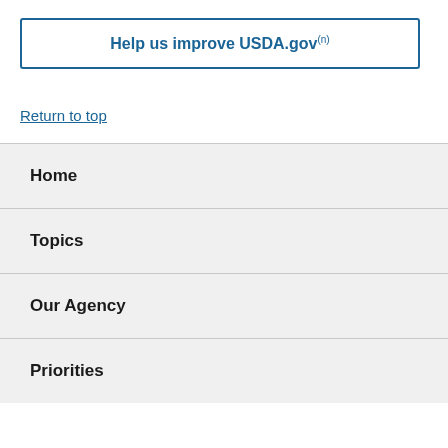Help us improve USDA.gov
Return to top
Home
Topics
Our Agency
Priorities